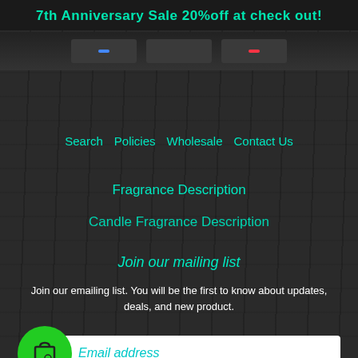7th Anniversary Sale 20%off at check out!
Search    Policies    Wholesale    Contact Us
Fragrance Description
Candle Fragrance Description
Join our mailing list
Join our emailing list. You will be the first to know about updates, deals, and new product.
Email address